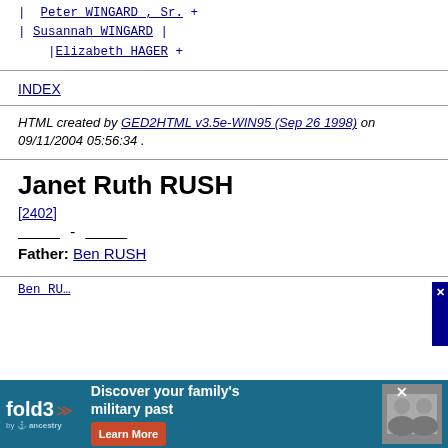| Peter WINGARD , Sr. +
| Susannah WINGARD |
| Elizabeth HAGER +
INDEX
HTML created by GED2HTML v3.5e-WIN95 (Sep 26 1998) on 09/11/2004 05:56:34 .
Janet Ruth RUSH
[2402]
____ - ____
Father: Ben RUSH
Ben RU...
[Figure (screenshot): Fold3 advertisement banner: Discover your family's military past. Learn More button. Ancestry logo.]